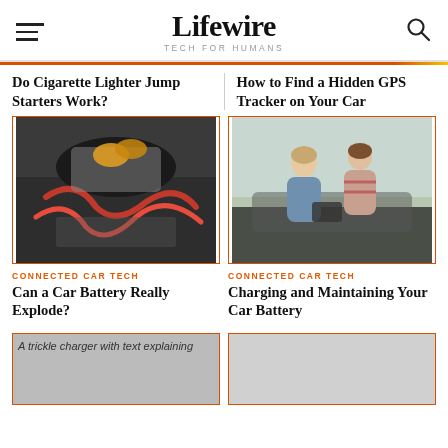Lifewire TECH FOR HUMANS
Do Cigarette Lighter Jump Starters Work?
How to Find a Hidden GPS Tracker on Your Car
[Figure (photo): Person connecting jumper cables to a car battery]
[Figure (photo): Two women looking under the hood of a car]
CONNECTED CAR TECH
Can a Car Battery Really Explode?
CONNECTED CAR TECH
Charging and Maintaining Your Car Battery
[Figure (photo): A trickle charger with text explaining]
[Figure (photo): Placeholder image]